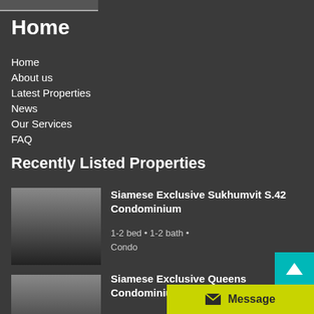Home
Home
About us
Latest Properties
News
Our Services
FAQ
Recently Listed Properties
[Figure (photo): Dark gradient property image thumbnail for Siamese Exclusive Sukhumvit S.42 Condominium]
Siamese Exclusive Sukhumvit S.42 Condominium
1-2 bed • 1-2 bath •
Condo
[Figure (photo): Dark gradient property image thumbnail for Siamese Exclusive Queens Condominium]
Siamese Exclusive Queens Condominium
1 - 3 bed • 1 - 3 bath •
Apartment, Condo